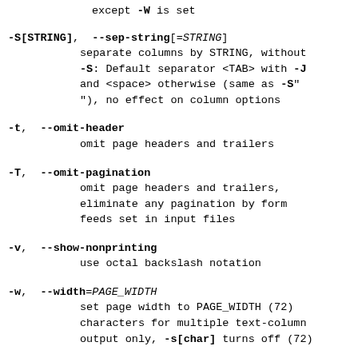except -W is set
-S[STRING], --sep-string[=STRING]
        separate columns by STRING, without
        -S: Default separator <TAB> with -J
        and <space> otherwise (same as -S"
        "), no effect on column options
-t, --omit-header
        omit page headers and trailers
-T, --omit-pagination
        omit page headers and trailers,
        eliminate any pagination by form
        feeds set in input files
-v, --show-nonprinting
        use octal backslash notation
-w, --width=PAGE_WIDTH
        set page width to PAGE_WIDTH (72)
        characters for multiple text-column
        output only, -s[char] turns off (72)